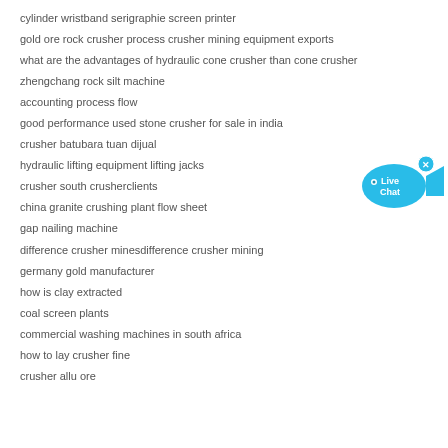cylinder wristband serigraphie screen printer
gold ore rock crusher process crusher mining equipment exports
what are the advantages of hydraulic cone crusher than cone crusher
zhengchang rock silt machine
accounting process flow
good performance used stone crusher for sale in india
crusher batubara tuan dijual
hydraulic lifting equipment lifting jacks
crusher south crusherclients
china granite crushing plant flow sheet
gap nailing machine
difference crusher minesdifference crusher mining
germany gold manufacturer
how is clay extracted
coal screen plants
commercial washing machines in south africa
how to lay crusher fine
crusher allu ore
[Figure (illustration): Live Chat button — blue speech bubble with fish shape and 'Live Chat' text, with an X close button]